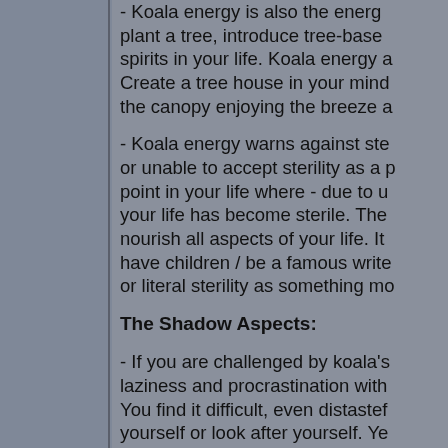- Koala energy is also the energy to plant a tree, introduce tree-based spirits in your life. Koala energy a... Create a tree house in your mind... the canopy enjoying the breeze a...
- Koala energy warns against ste... or unable to accept sterility as a p... point in your life where - due to u... your life has become sterile. The ... nourish all aspects of your life. It ... have children / be a famous write... or literal sterility as something mo...
The Shadow Aspects:
- If you are challenged by koala's... laziness and procrastination with... You find it difficult, even distastef... yourself or look after yourself. Ye... illness, if you haven't already. Tak...
- You may also have issues with r... independence and very resistanc... and beliefs within your life.